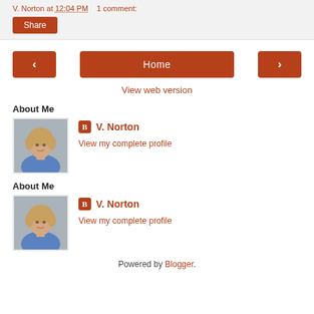V. Norton at 12:04 PM   1 comment:
Share
‹  Home  ›
View web version
About Me
[Figure (photo): Profile photo of V. Norton, a woman with short blonde hair wearing a blue top]
V. Norton
View my complete profile
About Me
[Figure (photo): Profile photo of V. Norton, a woman with short blonde hair wearing a blue top]
V. Norton
View my complete profile
Powered by Blogger.